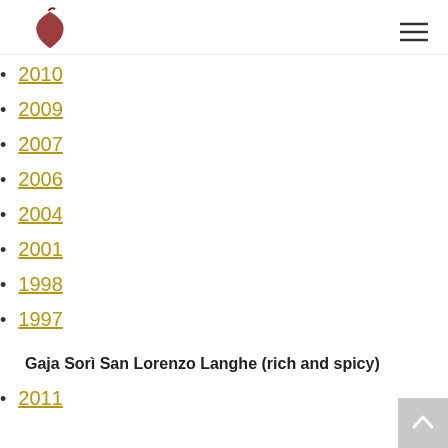2010
2009
2007
2006
2004
2001
1998
1997
Gaja Sorì San Lorenzo Langhe (rich and spicy)
2011